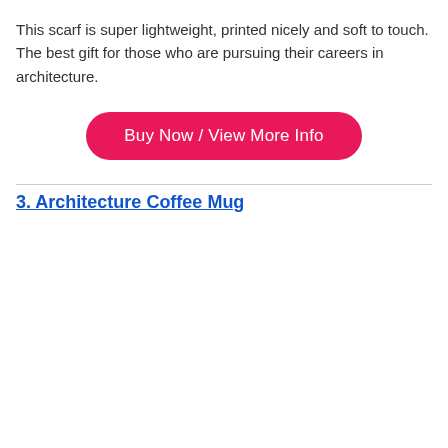This scarf is super lightweight, printed nicely and soft to touch. The best gift for those who are pursuing their careers in architecture.
[Figure (other): Pink rounded rectangle button with white text reading 'Buy Now / View More Info']
3. Architecture Coffee Mug